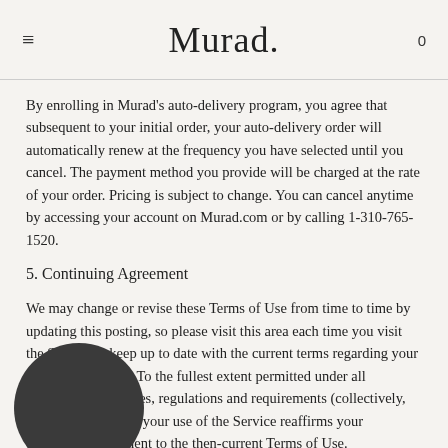Murad.
By enrolling in Murad's auto-delivery program, you agree that subsequent to your initial order, your auto-delivery order will automatically renew at the frequency you have selected until you cancel. The payment method you provide will be charged at the rate of your order. Pricing is subject to change. You can cancel anytime by accessing your account on Murad.com or by calling 1-310-765-1520.
5. Continuing Agreement
We may change or revise these Terms of Use from time to time by updating this posting, so please visit this area each time you visit the Service to keep up to date with the current terms regarding your use of the Service. To the fullest extent permitted under all applicable laws, rules, regulations and requirements (collectively, "Applicable Laws"), your use of the Service reaffirms your continuing agreement to the then-current Terms of Use.